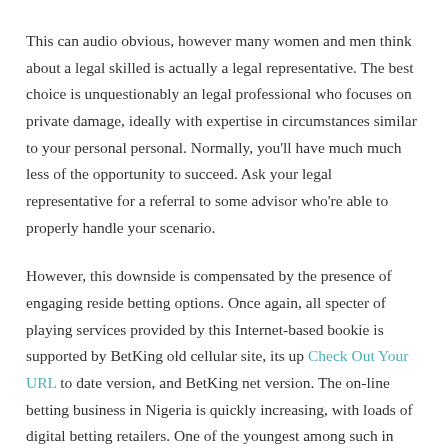This can audio obvious, however many women and men think about a legal skilled is actually a legal representative. The best choice is unquestionably an legal professional who focuses on private damage, ideally with expertise in circumstances similar to your personal personal. Normally, you'll have much much less of the opportunity to succeed. Ask your legal representative for a referral to some advisor who're able to properly handle your scenario.
However, this downside is compensated by the presence of engaging reside betting options. Once again, all specter of playing services provided by this Internet-based bookie is supported by BetKing old cellular site, its up Check Out Your URL to date version, and BetKing net version. The on-line betting business in Nigeria is quickly increasing, with loads of digital betting retailers. One of the youngest among such in style